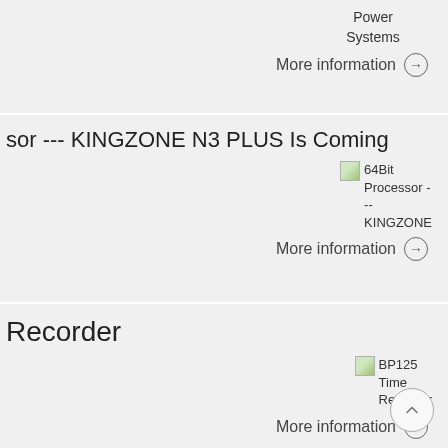Power Systems
More information →
sor --- KINGZONE N3 PLUS Is Coming
[Figure (photo): 64Bit Processor - -- KINGZONE thumbnail image]
More information →
Recorder
[Figure (photo): BP125 Time Recorder thumbnail image]
More information →